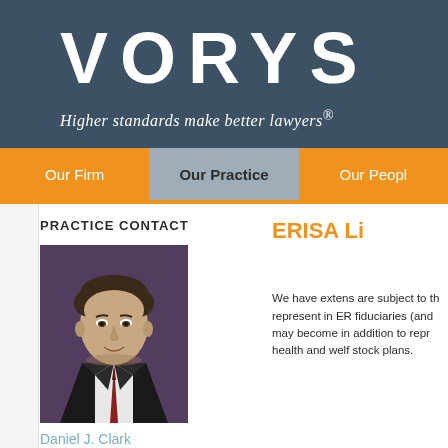VORYS
Higher standards make better lawyers.
Our Firm | Our Practice | Our People
PRACTICE CONTACT
[Figure (photo): Headshot of Daniel J. Clark, attorney, wearing a dark suit and tie against a dark background]
Daniel J. Clark
614.464.6436
djclark@vorys.com
ERISA Li
We have extens are subject to th represent in ER fiduciaries (and may become in addition to repr health and welf stock plans.